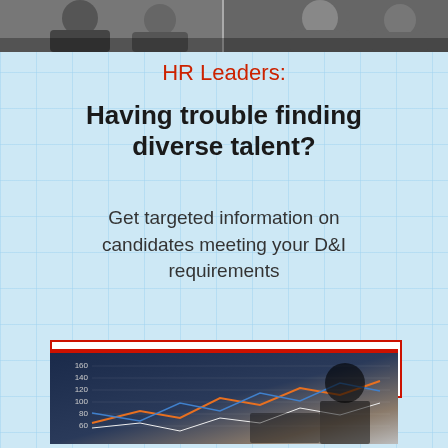[Figure (photo): Top banner photo showing people in a professional/meeting setting, split into two panels]
HR Leaders:
Having trouble finding diverse talent?
Get targeted information on candidates meeting your D&I requirements
BUILD THRIVING TEAMS
[Figure (photo): Bottom photo showing a business person working at a desk with chart/graph overlays in orange and blue lines, with red top border]